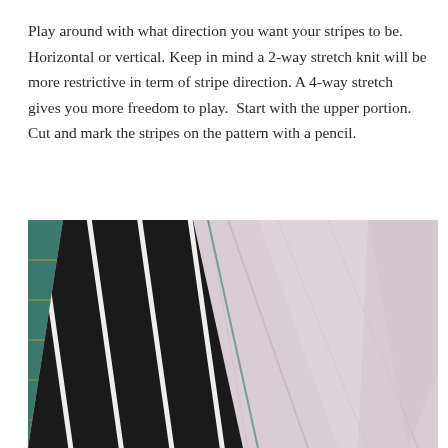Play around with what direction you want your stripes to be. Horizontal or vertical. Keep in mind a 2-way stretch knit will be more restrictive in term of stripe direction. A 4-way stretch gives you more freedom to play.  Start with the upper portion. Cut and mark the stripes on the pattern with a pencil.
[Figure (photo): Photo of fabric pieces laid on a green cutting mat. On the left is a black and white striped stretch knit fabric folded diagonally, and to the right is a light pink/white fabric piece also folded diagonally showing the grain lines. The cutting mat has yellow grid lines visible.]